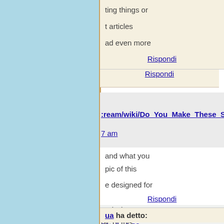ting things or
t articles
ad even more
Rispondi
:ream/wiki/Do_You_Make_These_Simp
7 am
and what you pic of this
e designed for
Rispondi
ua ha detto:
22 alle 8:38 am
s paragraph